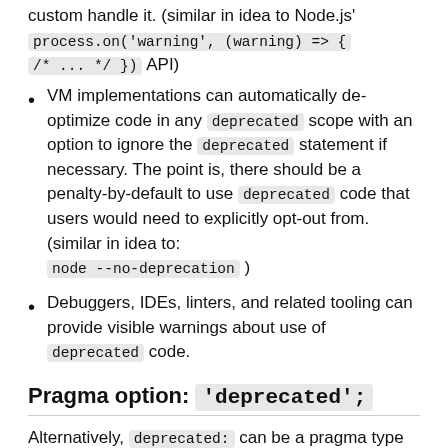custom handle it. (similar in idea to Node.js' process.on('warning', (warning) => { /* ... */ }) API)
VM implementations can automatically de-optimize code in any deprecated scope with an option to ignore the deprecated statement if necessary. The point is, there should be a penalty-by-default to use deprecated code that users would need to explicitly opt-out from. (similar in idea to: node --no-deprecation )
Debuggers, IDEs, linters, and related tooling can provide visible warnings about use of deprecated code.
Pragma option: 'deprecated';
Alternatively, deprecated: can be a pragma type